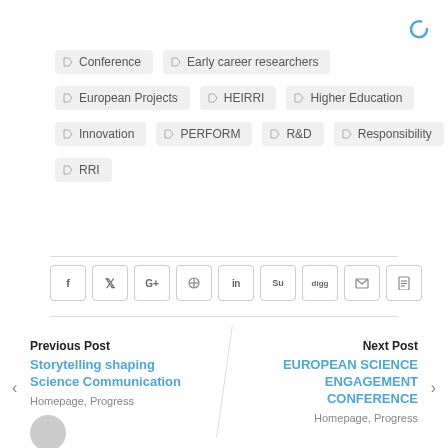Conference
Early career researchers
European Projects
HEIRRI
Higher Education
Innovation
PERFORM
R&D
Responsibility
RRI
[Figure (other): Social sharing icons row: Facebook, Twitter, Google+, Pinterest, LinkedIn, StumbleUpon, Digg, Email, Print]
Previous Post
Storytelling shaping Science Communication
Homepage, Progress
Next Post
EUROPEAN SCIENCE ENGAGEMENT CONFERENCE
Homepage, Progress